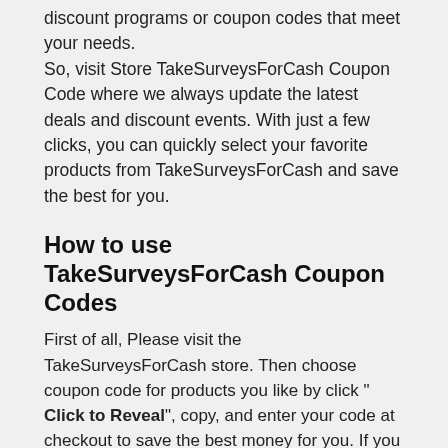discount programs or coupon codes that meet your needs.
So, visit Store TakeSurveysForCash Coupon Code where we always update the latest deals and discount events. With just a few clicks, you can quickly select your favorite products from TakeSurveysForCash and save the best for you.
How to use TakeSurveysForCash Coupon Codes
First of all, Please visit the TakeSurveysForCash store. Then choose coupon code for products you like by click " Click to Reveal", copy, and enter your code at checkout to save the best money for you. If you see a deal ( not a code ), simply click " Active Coupon " and enjoy a big discount now!
Don't forget, share TakeSurveysForCash discount coupon code to all your dear ones if you find it helps you enjoy saving the best money solution.